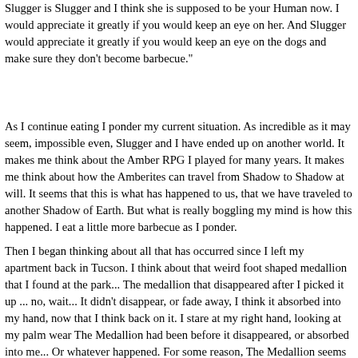Slugger is Slugger and I think she is supposed to be your Human now. I would appreciate it greatly if you would keep an eye on her. And Slugger would appreciate it greatly if you would keep an eye on the dogs and make sure they don't become barbecue."
As I continue eating I ponder my current situation. As incredible as it may seem, impossible even, Slugger and I have ended up on another world. It makes me think about the Amber RPG I played for many years. It makes me think about how the Amberites can travel from Shadow to Shadow at will. It seems that this is what has happened to us, that we have traveled to another Shadow of Earth. But what is really boggling my mind is how this happened. I eat a little more barbecue as I ponder.
Then I began thinking about all that has occurred since I left my apartment back in Tucson. I think about that weird foot shaped medallion that I found at the park... The medallion that disappeared after I picked it up ... no, wait... It didn't disappear, or fade away, I think it absorbed into my hand, now that I think back on it. I stare at my right hand, looking at my palm wear The Medallion had been before it disappeared, or absorbed into me... Or whatever happened. For some reason, The Medallion seems familiar... like a dusty old memory. Something from my Amber RPG that I had been playing with my favorite GM for years online. Perhaps something I read on